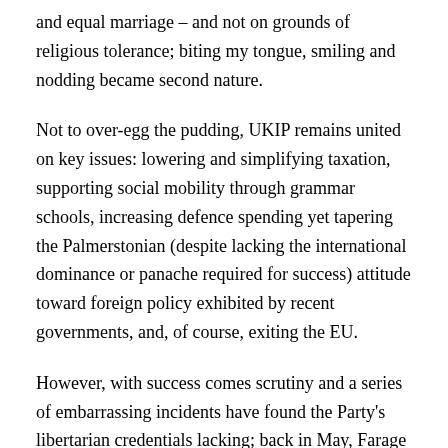and equal marriage – and not on grounds of religious tolerance; biting my tongue, smiling and nodding became second nature.
Not to over-egg the pudding, UKIP remains united on key issues: lowering and simplifying taxation, supporting social mobility through grammar schools, increasing defence spending yet tapering the Palmerstonian (despite lacking the international dominance or panache required for success) attitude toward foreign policy exhibited by recent governments, and, of course, exiting the EU.
However, with success comes scrutiny and a series of embarrassing incidents have found the Party's libertarian credentials lacking; back in May, Farage called in to question our commitment to a flat rate of income tax, and months later the Party opposed equal marriage (albeit on grounds of religious tolerance) then sacked Olly Neville, then Chairman of